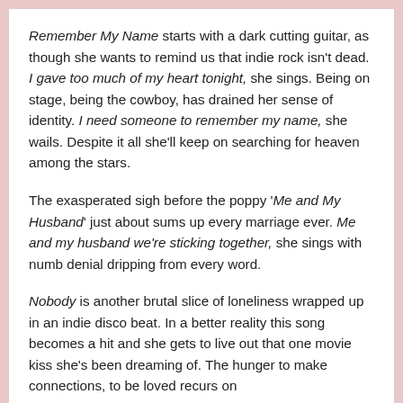Remember My Name starts with a dark cutting guitar, as though she wants to remind us that indie rock isn't dead. I gave too much of my heart tonight, she sings. Being on stage, being the cowboy, has drained her sense of identity. I need someone to remember my name, she wails. Despite it all she'll keep on searching for heaven among the stars.
The exasperated sigh before the poppy 'Me and My Husband' just about sums up every marriage ever. Me and my husband we're sticking together, she sings with numb denial dripping from every word.
Nobody is another brutal slice of loneliness wrapped up in an indie disco beat. In a better reality this song becomes a hit and she gets to live out that one movie kiss she's been dreaming of. The hunger to make connections, to be loved recurs on